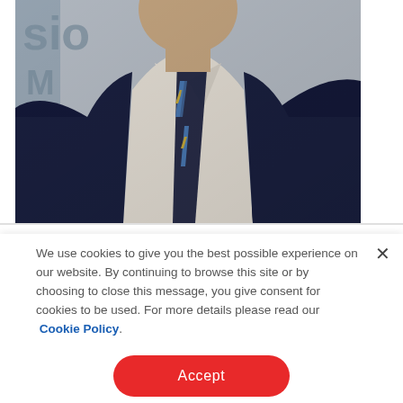[Figure (photo): A man in a dark navy business suit with a striped blue and gold tie over a white dress shirt, photographed from chest up in front of a blurred background with partial letters visible.]
We use cookies to give you the best possible experience on our website. By continuing to browse this site or by choosing to close this message, you give consent for cookies to be used. For more details please read our Cookie Policy.
Accept